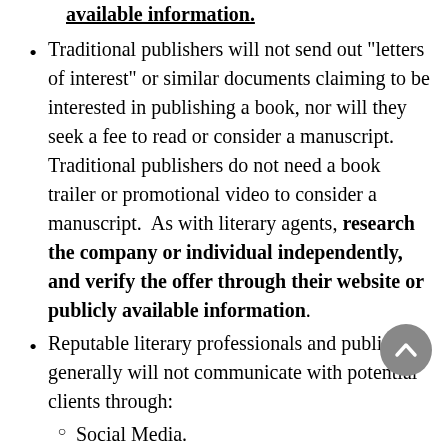available information.
Traditional publishers will not send out “letters of interest” or similar documents claiming to be interested in publishing a book, nor will they seek a fee to read or consider a manuscript. Traditional publishers do not need a book trailer or promotional video to consider a manuscript. As with literary agents, research the company or individual independently, and verify the offer through their website or publicly available information.
Reputable literary professionals and publishers generally will not communicate with potential clients through:
Social Media.
Personal email addresses. Pay close